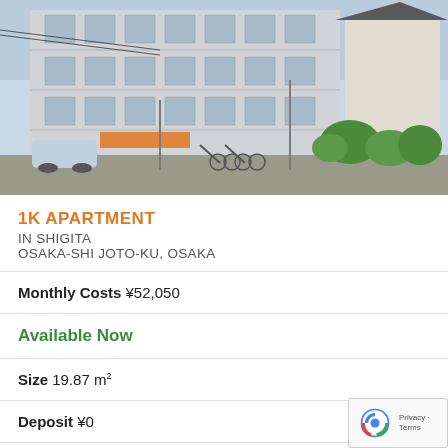[Figure (photo): Exterior photo of a multi-story apartment building in Japan with covered bicycle parking, parked cars, and trees/shrubs along the front]
1K APARTMENT
IN SHIGITA
OSAKA-SHI JOTO-KU, OSAKA
Monthly Costs ¥52,050
Available Now
Size 19.87 m²
Deposit ¥0
Key Money ¥0